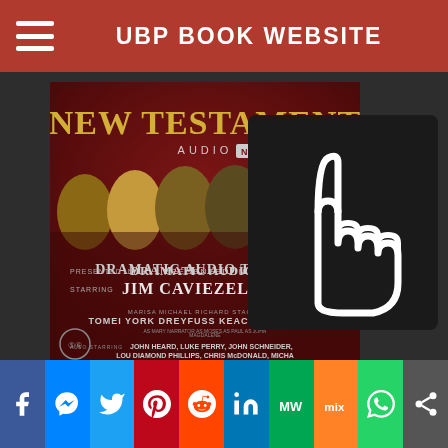UBP BOOK WEBSITE
[Figure (photo): Book cover of 'New Testament Audio NKJV Bible' presented in Dramatic Audio Theater starring Jim Caviezel as Jesus, with cast including Marisa Tomei, Michael York, Richard Dreyfuss, Stacy Keach, Louis Gossett Jr., also starring John Heard, Luke Perry, John Schneider, Lou Diamond Phillips, Chris McDonald, Michael, with Terence Stamp as the voice of God. Produced by Carl Amari, directed by Jobe Cerny. Red dramatic background with cast photo collage.]
[Figure (illustration): White hand pointer/cursor icon overlay on dark background, indicating clickable link]
f  Messenger  Twitter  Pinterest  Reddit  in  MW  Mix  WhatsApp  Share